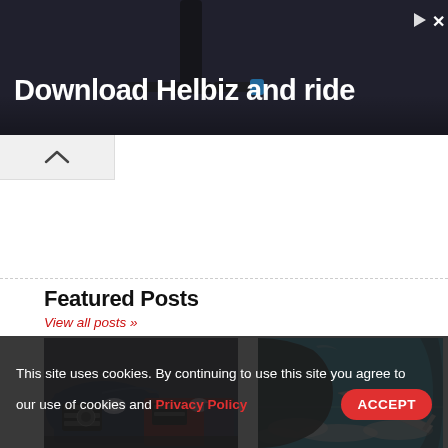[Figure (photo): Advertisement banner: dark background with scooter handlebars visible, white bold text reading 'Download Helbiz and ride', with a play icon and X button in top right corner]
[Figure (screenshot): Collapse/accordion button showing an upward chevron arrow on a light grey background]
Featured Posts
View all posts »
[Figure (photo): Row of cars parked in a lot, showing front grilles and headlights, predominantly dark blue and red vehicles]
[Figure (photo): View from airplane window showing the wing tip against blue sky and white clouds below]
Whe... Singapore?
... COVID-19 coverage
This site uses cookies. By continuing to use this site you agree to our use of cookies and Privacy Policy
ACCEPT